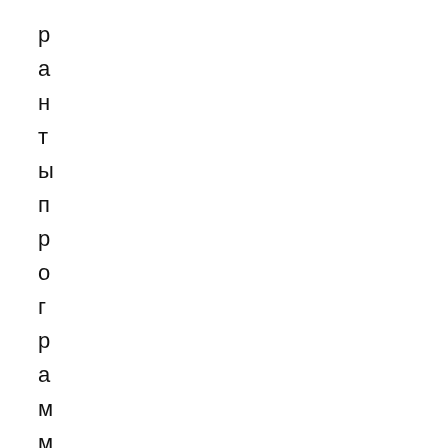р
а
н
т
ы
п
р
о
г
р
а
м
м
ы
п
о
д